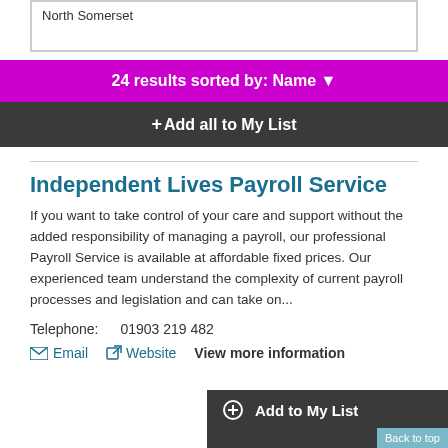North Somerset
24 results sorted by: Name
+ Add all to My List
Independent Lives Payroll Service
If you want to take control of your care and support without the added responsibility of managing a payroll, our professional Payroll Service is available at affordable fixed prices. Our experienced team understand the complexity of current payroll processes and legislation and can take on...
Telephone: 01903 219 482
Email  Website  View more information
+ Add to My List  Back to top